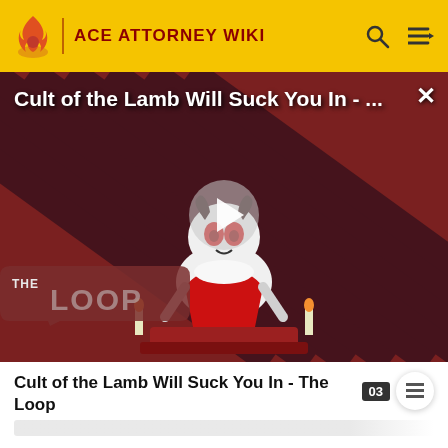ACE ATTORNEY WIKI
[Figure (screenshot): Video thumbnail for 'Cult of the Lamb Will Suck You In - The Loop' showing a stylized cartoon lamb character in red on a diagonal stripe background with 'THE LOOP' badge. A play button is centered on the video.]
Cult of the Lamb Will Suck You In - The Loop
strangled his (unbeknownst to her) already dead body when she had stolen the letter.